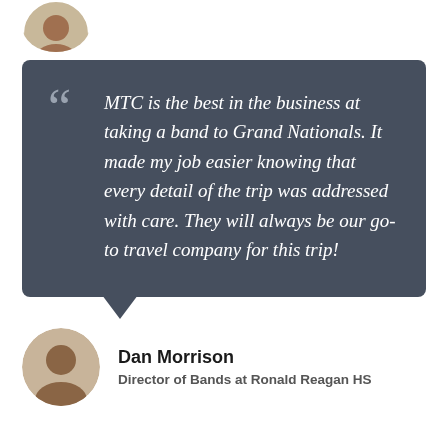[Figure (photo): Partial circular portrait photo of a person at top of page]
MTC is the best in the business at taking a band to Grand Nationals. It made my job easier knowing that every detail of the trip was addressed with care. They will always be our go-to travel company for this trip!
[Figure (photo): Circular portrait photo of Dan Morrison]
Dan Morrison
Director of Bands at Ronald Reagan HS